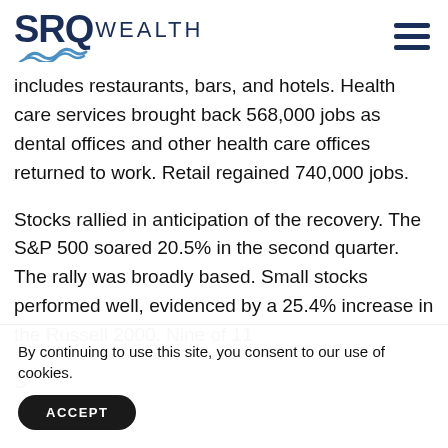SRQ WEALTH
includes restaurants, bars, and hotels. Health care services brought back 568,000 jobs as dental offices and other health care offices returned to work. Retail regained 740,000 jobs.
Stocks rallied in anticipation of the recovery. The S&P 500 soared 20.5% in the second quarter. The rally was broadly based. Small stocks performed well, evidenced by a 25.4% increase in the Russell 2000. Nine of 11 S... u...
By continuing to use this site, you consent to our use of cookies.